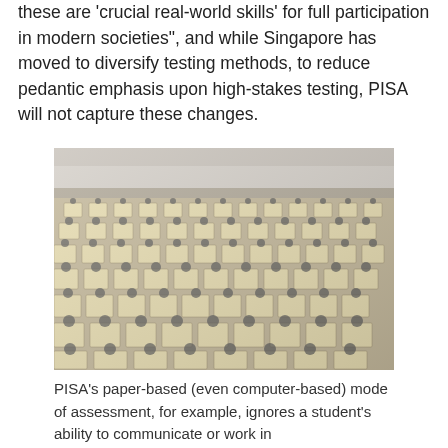these are 'crucial real-world skills' for full participation in modern societies", and while Singapore has moved to diversify testing methods, to reduce pedantic emphasis upon high-stakes testing, PISA will not capture these changes.
[Figure (photo): Aerial view of a very large examination hall filled with hundreds of students sitting at individual desks, taken from an elevated angle showing rows upon rows of exam candidates.]
PISA's paper-based (even computer-based) mode of assessment, for example, ignores a student's ability to communicate or work in